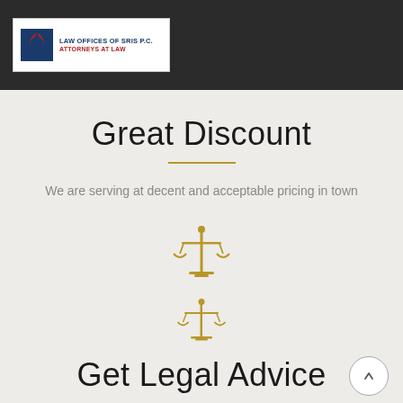[Figure (logo): Law Offices of SRIS P.C. - Attorneys at Law logo with stylized S icon in blue/red on white background]
Great Discount
We are serving at decent and acceptable pricing in town
[Figure (illustration): Gold scales of justice icon (larger)]
[Figure (illustration): Gold scales of justice icon (smaller)]
Get Legal Advice